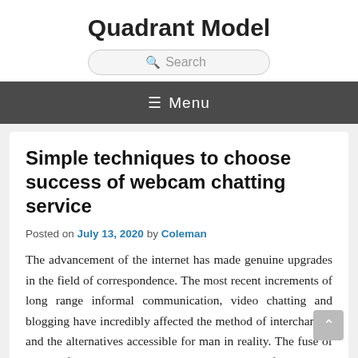Quadrant Model
Search
≡ Menu
Simple techniques to choose success of webcam chatting service
Posted on July 13, 2020 by Coleman
The advancement of the internet has made genuine upgrades in the field of correspondence. The most recent increments of long range informal communication, video chatting and blogging have incredibly affected the method of interchanges and the alternatives accessible for man in reality. The fuse of video information in to the current arrangement of